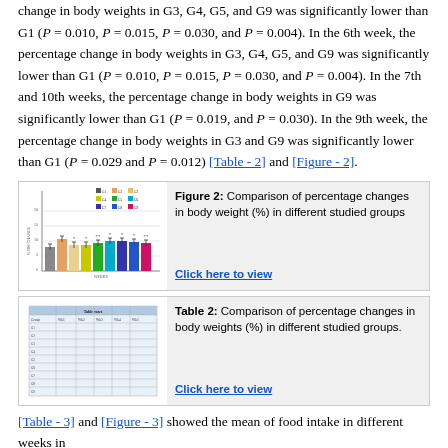change in body weights in G3, G4, G5, and G9 was significantly lower than G1 (P = 0.010, P = 0.015, P = 0.030, and P = 0.004). In the 6th week, the percentage change in body weights in G3, G4, G5, and G9 was significantly lower than G1 (P = 0.010, P = 0.015, P = 0.030, and P = 0.004). In the 7th and 10th weeks, the percentage change in body weights in G9 was significantly lower than G1 (P = 0.019, and P = 0.030). In the 9th week, the percentage change in body weights in G3 and G9 was significantly lower than G1 (P = 0.029 and P = 0.012) [Table - 2] and [Figure - 2].
[Figure (bar-chart): Bar chart showing percentage changes in body weight across groups G1-G9]
[Figure (table-as-image): Table image showing percentage changes in body weights across groups]
[Table - 3] and [Figure - 3] showed the mean of food intake in different weeks in